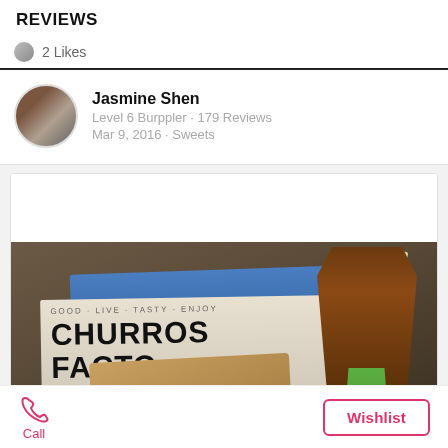REVIEWS
2 Likes
Jasmine Shen
Level 6 Burppler · 179 Reviews
Mar 9, 2016 · Sweets
[Figure (photo): Food photo showing a pandan-filled churro skewer held above a Churros Factory box and signage in a dim restaurant setting]
Call
Wishlist